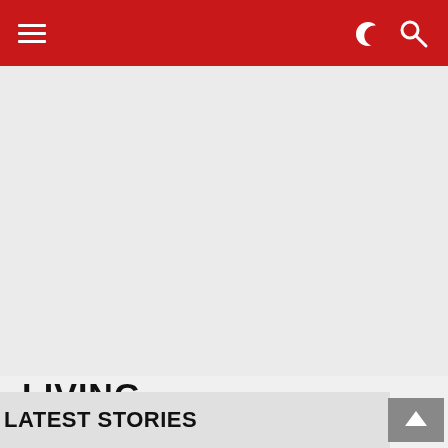Navigation bar with hamburger menu, dark mode toggle, and search icon
[Figure (other): Large gray placeholder/advertisement area below the navigation bar]
LIVING
Latest (dropdown selector)
LATEST STORIES